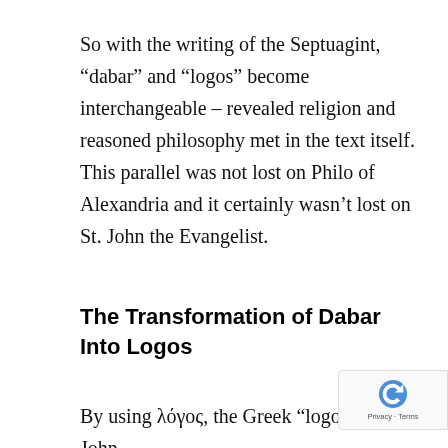So with the writing of the Septuagint, “dabar” and “logos” become interchangeable – revealed religion and reasoned philosophy met in the text itself. This parallel was not lost on Philo of Alexandria and it certainly wasn’t lost on St. John the Evangelist.
The Transformation of Dabar Into Logos
By using λόγος, the Greek “logos,” John